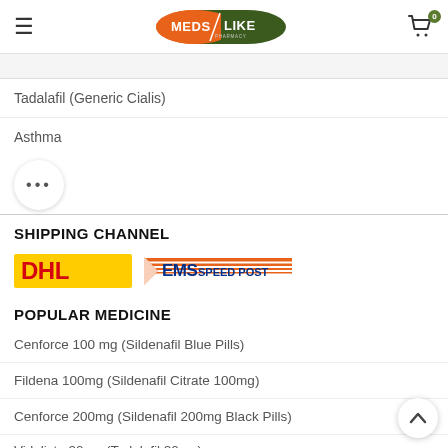MEDS LIKE PHARMACY — navigation header with logo and cart
Tadalafil (Generic Cialis)
Asthma
SHIPPING CHANNEL
[Figure (logo): DHL and EMS Speed Post shipping logos side by side]
POPULAR MEDICINE
Cenforce 100 mg (Sildenafil Blue Pills)
Fildena 100mg (Sildenafil Citrate 100mg)
Cenforce 200mg (Sildenafil 200mg Black Pills)
Vidalista 20mg (Tadalafil 20mg)